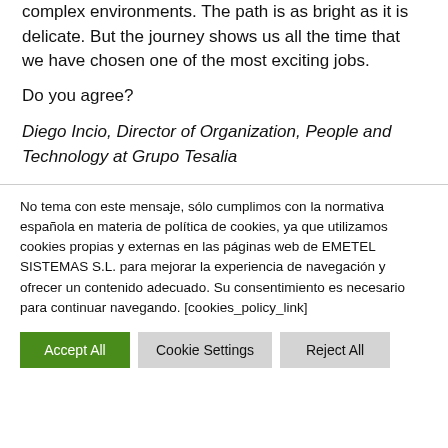complex environments. The path is as bright as it is delicate. But the journey shows us all the time that we have chosen one of the most exciting jobs.
Do you agree?
Diego Incio, Director of Organization, People and Technology at Grupo Tesalia
No tema con este mensaje, sólo cumplimos con la normativa española en materia de política de cookies, ya que utilizamos cookies propias y externas en las páginas web de EMETEL SISTEMAS S.L. para mejorar la experiencia de navegación y ofrecer un contenido adecuado. Su consentimiento es necesario para continuar navegando. [cookies_policy_link]
Accept All | Cookie Settings | Reject All